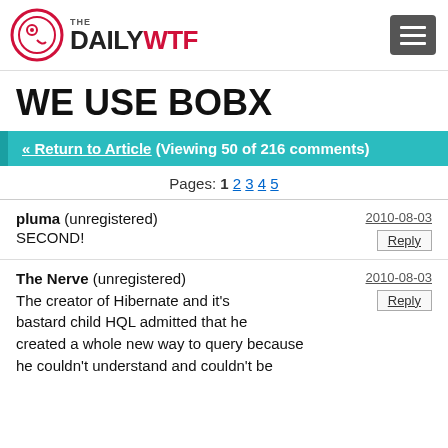THE DAILY WTF
WE USE BOBX
« Return to Article (Viewing 50 of 216 comments)
Pages: 1 2 3 4 5
pluma (unregistered)
SECOND!
2010-08-03
The Nerve (unregistered)
The creator of Hibernate and it's bastard child HQL admitted that he created a whole new way to query because he couldn't understand and couldn't be
2010-08-03